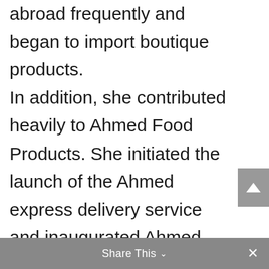abroad frequently and began to import boutique products.

In addition, she contributed heavily to Ahmed Food Products. She initiated the launch of the Ahmed express delivery service and inaugurated Ahmed Productions, which makes TVC, OVC, and short films.
[Figure (other): Scroll-to-top button (upward chevron arrow on grey background)]
Share This ∨  ×